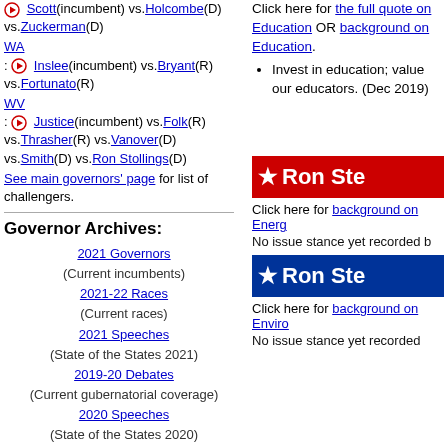Scott(incumbent) vs.Holcombe(D) vs.Zuckerman(D)
WA: Inslee(incumbent) vs.Bryant(R) vs.Fortunato(R)
WV: Justice(incumbent) vs.Folk(R) vs.Thrasher(R) vs.Vanover(D) vs.Smith(D) vs.Ron Stollings(D)
See main governors' page for list of challengers.
Governor Archives:
2021 Governors (Current incumbents)
2021-22 Races (Current races)
2021 Speeches (State of the States 2021)
2019-20 Debates (Current gubernatorial coverage)
2020 Speeches (State of the States 2020)
2019 Speeches (State of the States 2019)
2018 Speeches (State of the States 2018)
2017-18 Debates (Previous gubernatorial coverage)
2015-16 Incumbents (Previous governors' races)
Click here for the full quote on Education OR background on Education.
Invest in education; value our educators. (Dec 2019)
[Figure (infographic): Red banner with white star and text 'Ron Ste...' (truncated)]
Click here for background on Energ...
No issue stance yet recorded b...
[Figure (infographic): Blue banner with white star and text 'Ron Ste...' (truncated)]
Click here for background on Enviro...
No issue stance yet recorded...